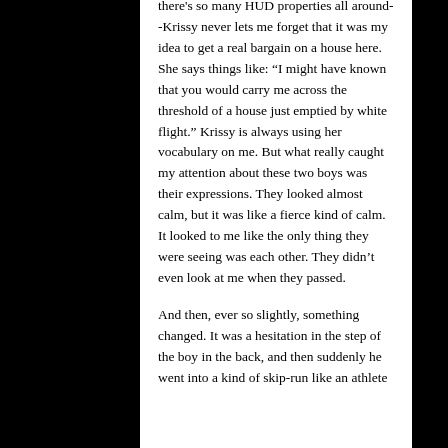there's so many HUD properties all around--Krissy never lets me forget that it was my idea to get a real bargain on a house here. She says things like: “I might have known that you would carry me across the threshold of a house just emptied by white flight.” Krissy is always using her vocabulary on me. But what really caught my attention about these two boys was their expressions. They looked almost calm, but it was like a fierce kind of calm. It looked to me like the only thing they were seeing was each other. They didn’t even look at me when they passed.
And then, ever so slightly, something changed. It was a hesitation in the step of the boy in the back, and then suddenly he went into a kind of skip-run like an athlete